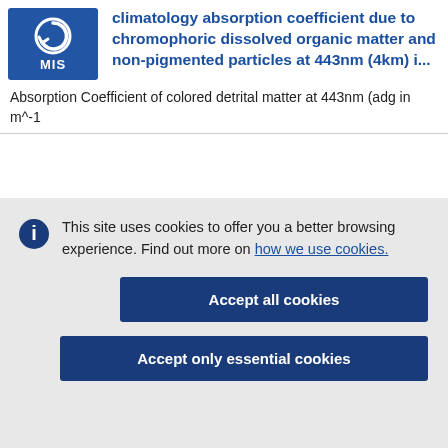[Figure (logo): Blue MIS logo box with circular arrow icon and MIS text]
climatology absorption coefficient due to chromophoric dissolved organic matter and non-pigmented particles at 443nm (4km) i...
Absorption Coefficient of colored detrital matter at 443nm (adg in m^-1
This site uses cookies to offer you a better browsing experience. Find out more on how we use cookies.
Accept all cookies
Accept only essential cookies